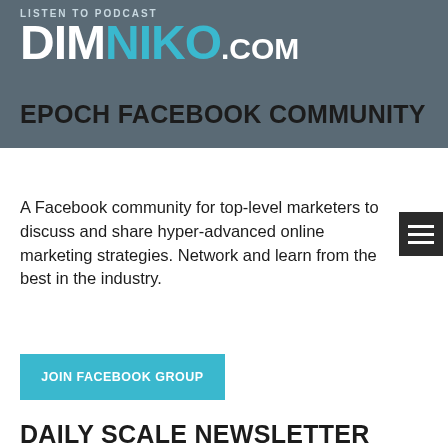LISTEN TO PODCAST — DIMNIKO.COM
EPOCH FACEBOOK COMMUNITY
A Facebook community for top-level marketers to discuss and share hyper-advanced online marketing strategies. Network and learn from the best in the industry.
[Figure (other): Teal/cyan JOIN FACEBOOK GROUP button]
DAILY SCALE NEWSLETTER
The Daily Scale newsletter is delivered directly to your inbox discussing top insights and strategies our agency uses every single day on our 7 figure DTC brands.
[Figure (other): Teal/cyan SUBSCRIBE TO DAILY SCALE button (partially visible)]